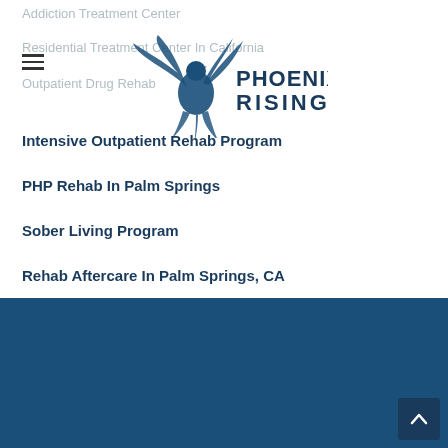Addiction Treatment Center
Residential Treatment Center In California
Outpatient Drug Rehab
[Figure (logo): Phoenix Rising logo with stylized phoenix bird and text 'PHOENIX RISING' in dark blue]
Intensive Outpatient Rehab Program
PHP Rehab In Palm Springs
Sober Living Program
Rehab Aftercare In Palm Springs, CA